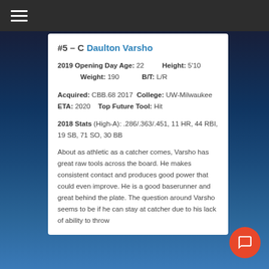≡
#5 – C Daulton Varsho
2019 Opening Day Age: 22    Height: 5'10
     Weight: 190          B/T: L/R
Acquired: CBB.68 2017  College: UW-Milwaukee    ETA: 2020    Top Future Tool: Hit
2018 Stats (High-A): .286/.363/.451, 11 HR, 44 RBI, 19 SB, 71 SO, 30 BB
About as athletic as a catcher comes, Varsho has great raw tools across the board. He makes consistent contact and produces good power that could even improve. He is a good baserunner and great behind the plate. The question around Varsho seems to be if he can stay at catcher due to his lack of ability to throw